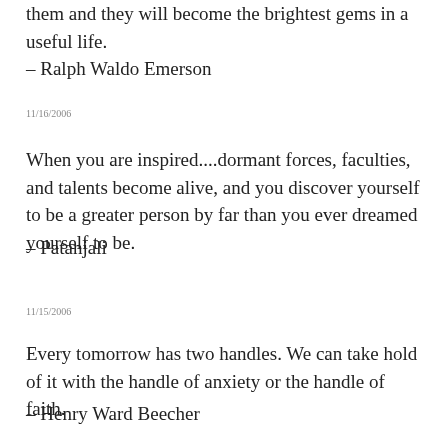them and they will become the brightest gems in a useful life.
– Ralph Waldo Emerson
11/16/2006
When you are inspired....dormant forces, faculties, and talents become alive, and you discover yourself to be a greater person by far than you ever dreamed yourself to be.
– Patanjali
11/15/2006
Every tomorrow has two handles. We can take hold of it with the handle of anxiety or the handle of faith.
– Henry Ward Beecher